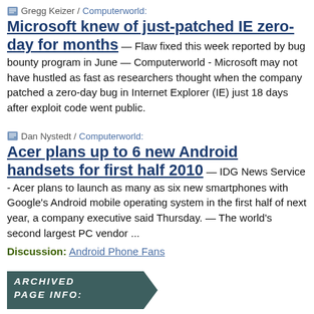Gregg Keizer / Computerworld:
Microsoft knew of just-patched IE zero-day for months
— Flaw fixed this week reported by bug bounty program in June — Computerworld - Microsoft may not have hustled as fast as researchers thought when the company patched a zero-day bug in Internet Explorer (IE) just 18 days after exploit code went public.
Dan Nystedt / Computerworld:
Acer plans up to 6 new Android handsets for first half 2010
— IDG News Service - Acer plans to launch as many as six new smartphones with Google's Android mobile operating system in the first half of next year, a company executive said Thursday.  —  The world's second largest PC vendor ...
Discussion:  Android Phone Fans
[Figure (other): Archived Page Info banner with dark teal/grey background and italic bold white text reading ARCHIVED PAGE INFO:, with a chevron/arrow shape on the right side.]